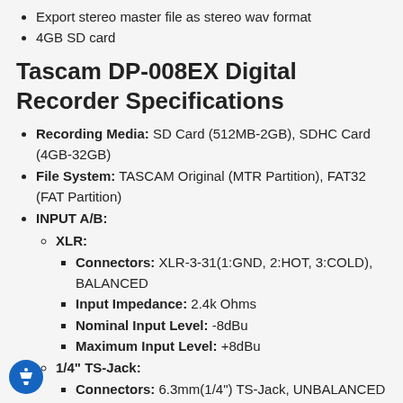Export stereo master file as stereo wav format
4GB SD card
Tascam DP-008EX Digital Recorder Specifications
Recording Media: SD Card (512MB-2GB), SDHC Card (4GB-32GB)
File System: TASCAM Original (MTR Partition), FAT32 (FAT Partition)
INPUT A/B:
XLR:
Connectors: XLR-3-31(1:GND, 2:HOT, 3:COLD), BALANCED
Input Impedance: 2.4k Ohms
Nominal Input Level: -8dBu
Maximum Input Level: +8dBu
1/4" TS-Jack:
Connectors: 6.3mm(1/4") TS-Jack, UNBALANCED
Input Impedance: 10k Ohms or More (INPUT A: MIC/LINE), 1MO (INPUT A: GUITAR)